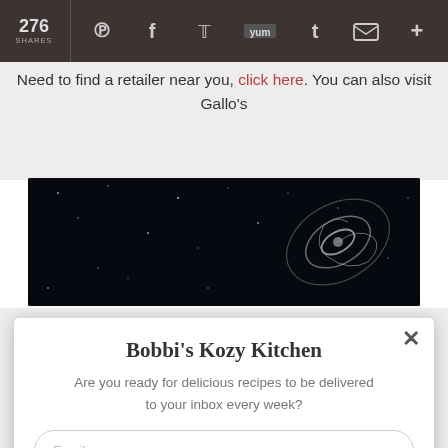276 SHARES
Need to find a retailer near you, click here. You can also visit Gallo's
[Figure (photo): Dark space-like image with a spiral/galaxy shape on the right side]
Bobbi's Kozy Kitchen
Are you ready for delicious recipes to be delivered to your inbox every week?
Email
Name
Opt in to receive news and updates.
LET'S DO THIS!